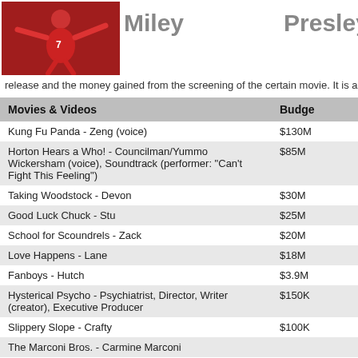[Figure (photo): Small photo of a person in red sports jersey with arms outstretched]
Miley                    Presley,
release and the money gained from the screening of the certain movie. It is alwa
| Movies & Videos | Budge |
| --- | --- |
| Kung Fu Panda - Zeng (voice) | $130M |
| Horton Hears a Who! - Councilman/Yummo Wickersham (voice), Soundtrack (performer: "Can't Fight This Feeling") | $85M |
| Taking Woodstock - Devon | $30M |
| Good Luck Chuck - Stu | $25M |
| School for Scoundrels - Zack | $20M |
| Love Happens - Lane | $18M |
| Fanboys - Hutch | $3.9M |
| Hysterical Psycho - Psychiatrist, Director, Writer (creator), Executive Producer | $150K |
| Slippery Slope - Crafty | $100K |
| The Marconi Bros. - Carmine Marconi |  |
| Hyper (short) - Lenny |  |
| Balls Out: The Making of 'Balls of Fury' (video documentary short) - Himself - 'Randy Daytona' (also archive footage), Special Thanks |  |
| Brooklyn Thrill Killers (short) - Melvin Mittman |  |